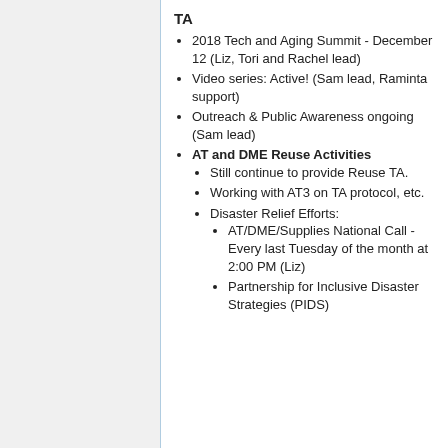TA
2018 Tech and Aging Summit - December 12 (Liz, Tori and Rachel lead)
Video series: Active! (Sam lead, Raminta support)
Outreach & Public Awareness ongoing (Sam lead)
AT and DME Reuse Activities
Still continue to provide Reuse TA.
Working with AT3 on TA protocol, etc.
Disaster Relief Efforts:
AT/DME/Supplies National Call - Every last Tuesday of the month at 2:00 PM (Liz)
Partnership for Inclusive Disaster Strategies (PIDS)